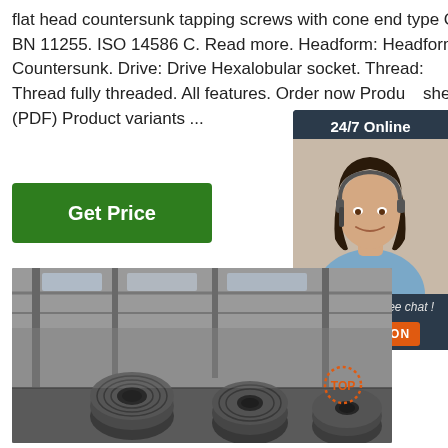flat head countersunk tapping screws with cone end type C BN 11255. ISO 14586 C. Read more. Headform: Headform Countersunk. Drive: Drive Hexalobular socket. Thread: Thread fully threaded. All features. Order now Product sheet (PDF) Product variants ...
[Figure (photo): Green 'Get Price' button]
[Figure (photo): Chat widget showing a woman with headset, '24/7 Online' header, 'Click here for free chat!' text, and orange QUOTATION button]
[Figure (photo): Industrial factory interior with large rolls of steel coils on the floor, warehouse structure visible]